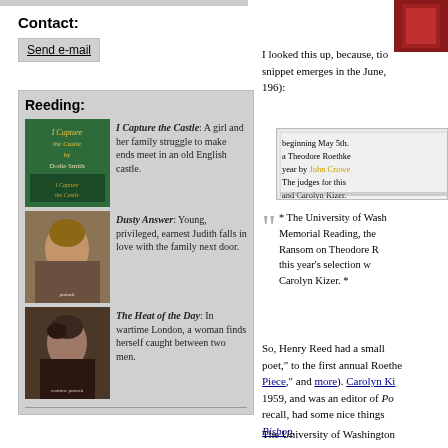Contact:
Send e-mail
Reeding:
[Figure (illustration): Book cover: I Capture the Castle by Dodie Smith, green cover with gold text]
I Capture the Castle: A girl and her family struggle to make ends meet in an old English castle.
[Figure (photo): Book cover: Dusty Answer, portrait of a young woman in 1920s style with decorative headband]
Dusty Answer: Young, privileged, earnest Judith falls in love with the family next door.
[Figure (photo): Book cover: The Heat of the Day, portrait of a woman in wartime London style]
The Heat of the Day: In wartime London, a woman finds herself caught between two men.
[Figure (photo): Small photo of a red book in upper right corner]
I looked this up, because, the snippet emerges in the June, 196):
[Figure (screenshot): Snippet of text: beginning May 5th. a Theodore Roethke year by John Crowe The judges for this and Carolyn Kizer.]
* The University of Washington Memorial Reading, the Ransom on Theodore R this year's selection w Carolyn Kizer. *
So, Henry Reed had a small poet," to the first annual Roethe Piece," and more). Carolyn Ki 1959, and was an editor of Po recall, had some nice things Bishop.
The University of Washington